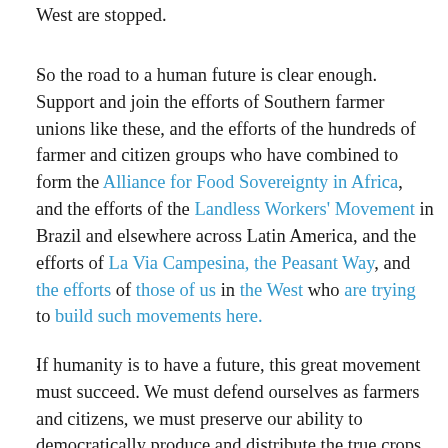West are stopped.
.
So the road to a human future is clear enough. Support and join the efforts of Southern farmer unions like these, and the efforts of the hundreds of farmer and citizen groups who have combined to form the Alliance for Food Sovereignty in Africa, and the efforts of the Landless Workers' Movement in Brazil and elsewhere across Latin America, and the efforts of La Via Campesina, the Peasant Way, and the efforts of those of us in the West who are trying to build such movements here.
.
If humanity is to have a future, this great movement must succeed. We must defend ourselves as farmers and citizens, we must preserve our ability to democratically produce and distribute the true crops and real food, and